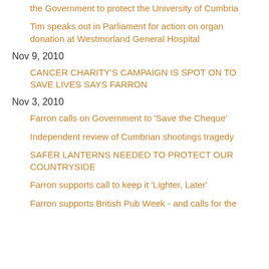the Government to protect the University of Cumbria
Tim speaks out in Parliament for action on organ donation at Westmorland General Hospital
Nov 9, 2010
CANCER CHARITY'S CAMPAIGN IS SPOT ON TO SAVE LIVES SAYS FARRON
Nov 3, 2010
Farron calls on Government to 'Save the Cheque'
Independent review of Cumbrian shootings tragedy
SAFER LANTERNS NEEDED TO PROTECT OUR COUNTRYSIDE
Farron supports call to keep it 'Lighter, Later'
Farron supports British Pub Week - and calls for the